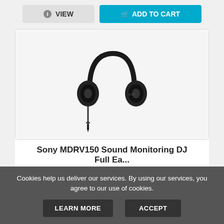[Figure (other): Two buttons: a grey 'VIEW' button with an info icon and a cyan 'ADD TO CART' button with a cart icon]
[Figure (photo): Sony MDRV150 black over-ear DJ headphones with detached 3.5mm audio jack cable]
Sony MDRV150 Sound Monitoring DJ Full Ea...
Cookies help us deliver our services. By using our services, you agree to our use of cookies.
LEARN MORE  ACCEPT